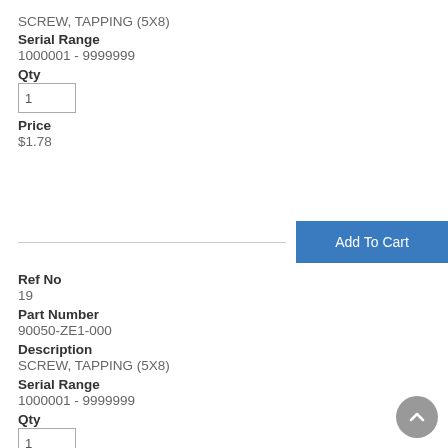SCREW, TAPPING (5X8)
Serial Range
1000001 - 9999999
Qty
1
Price
$1.78
Ref No
19
Part Number
90050-ZE1-000
Description
SCREW, TAPPING (5X8)
Serial Range
1000001 - 9999999
Qty
1